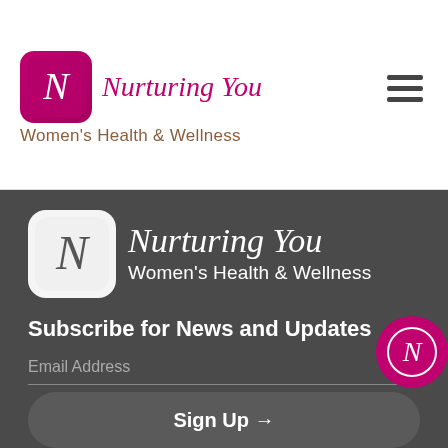[Figure (logo): Nurturing You Women's Health & Wellness logo with stylized N icon in magenta/pink square, header version]
Nurturing You
Women's Health & Wellness
[Figure (logo): Nurturing You Women's Health & Wellness logo, larger version on dark background]
Nurturing You
Women's Health & Wellness
Subscribe for News and Updates
Email Address
Sign Up →